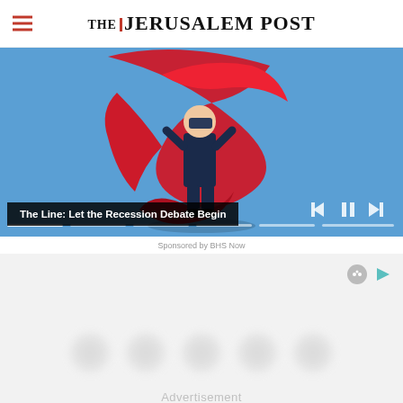THE JERUSALEM POST
[Figure (illustration): Video player showing an illustration of a businessman wrapped in a large red ribbon/tape on a blue background. Media controls (previous, pause, next) visible at bottom right. Progress bar segments at bottom.]
The Line: Let the Recession Debate Begin
Sponsored by BHS Now
[Figure (other): Advertisement area with blurred circular shapes and small icon buttons (circular icon and play/arrow icon) in the top right corner.]
Advertisement